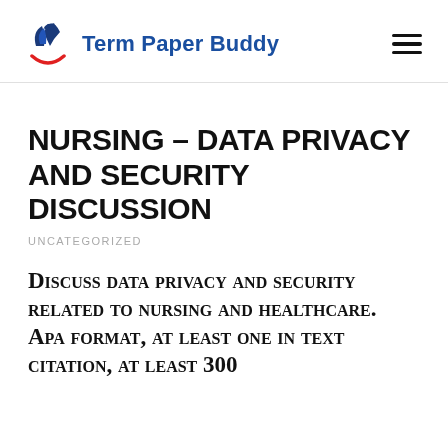Term Paper Buddy
NURSING – DATA PRIVACY AND SECURITY DISCUSSION
UNCATEGORIZED
Discuss data privacy and security related to nursing and healthcare. Apa format, at least one in text citation, at least 300